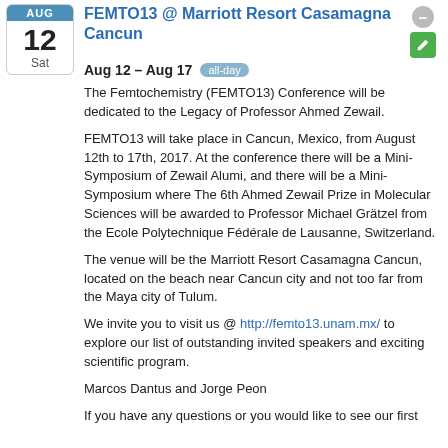[Figure (other): Calendar icon showing AUG 12, Sat]
FEMTO13 @ Marriott Resort Casamagna Cancun
Aug 12 – Aug 17  all-day
The Femtochemistry (FEMTO13) Conference will be dedicated to the Legacy of Professor Ahmed Zewail.
FEMTO13 will take place in Cancun, Mexico, from August 12th to 17th, 2017. At the conference there will be a Mini-Symposium of Zewail Alumi, and there will be a Mini-Symposium where The 6th Ahmed Zewail Prize in Molecular Sciences will be awarded to Professor Michael Grätzel from the Ecole Polytechnique Fédérale de Lausanne, Switzerland.
The venue will be the Marriott Resort Casamagna Cancun, located on the beach near Cancun city and not too far from the Maya city of Tulum.
We invite you to visit us @ http://femto13.unam.mx/ to explore our list of outstanding invited speakers and exciting scientific program.
Marcos Dantus and Jorge Peon
If you have any questions or you would like to see our first circular, please direct them to femto13.Relaunch@unam.mx